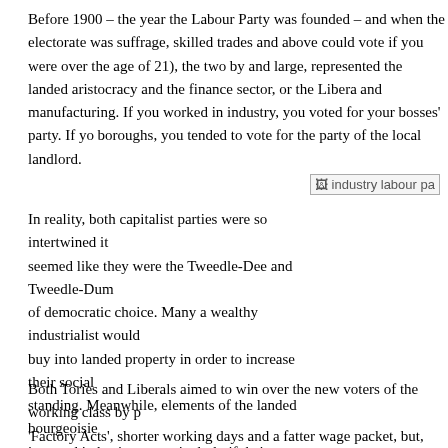Before 1900 – the year the Labour Party was founded – and when the electorate was limited (under the old suffrage, skilled trades and above could vote if you were over the age of 21), the two main parties, by and large, represented the landed aristocracy and the finance sector, or the Liberal manufacturing. If you worked in industry, you voted for your bosses' party. If you lived in borough, you tended to vote for the party of the local landlord.
[Figure (photo): Partially visible image labelled 'industry labour pa...']
In reality, both capitalist parties were so intertwined it seemed like they were the Tweedle-Dee and Tweedle-Dum of democratic choice. Many a wealthy industrialist would buy into landed property in order to increase their social standing. Meanwhile, elements of the landed bourgeoisie invested in business, particularly if their own land could yield profit with the sinking of new coalmines, or the discovery of iron ore deposits. So, both parties, in a sense, were linked by a thousand threads and each seemed to take it in turns at taking on the levers of political power.
Both Tories and Liberals aimed to win over the new voters of the working class by promising 'Factory Acts', shorter working days and a fatter wage packet, but, once in power, th... too often.